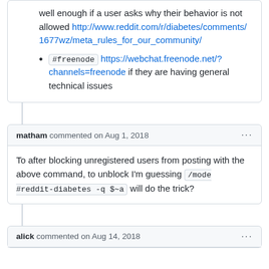well enough if a user asks why their behavior is not allowed http://www.reddit.com/r/diabetes/comments/1677wz/meta_rules_for_our_community/
#freenode https://webchat.freenode.net/?channels=freenode if they are having general technical issues
matham commented on Aug 1, 2018
To after blocking unregistered users from posting with the above command, to unblock I'm guessing /mode #reddit-diabetes -q $~a will do the trick?
alick commented on Aug 14, 2018